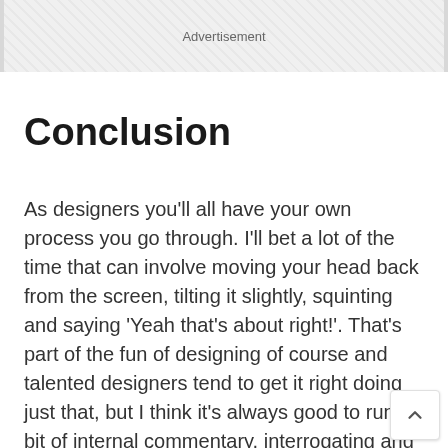[Figure (other): Advertisement banner with hatched/crosshatch gray background pattern and centered text 'Advertisement']
Conclusion
As designers you'll all have your own process you go through. I'll bet a lot of the time that can involve moving your head back from the screen, tilting it slightly, squinting and saying 'Yeah that's about right!'. That's part of the fun of designing of course and talented designers tend to get it right doing just that, but I think it's always good to run a bit of internal commentary, interrogating and reasoning the design decisions you're making.